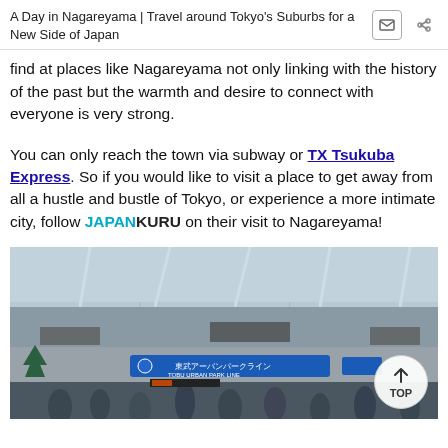A Day in Nagareyama | Travel around Tokyo's Suburbs for a New Side of Japan
find at places like Nagareyama not only linking with the history of the past but the warmth and desire to connect with everyone is very strong.
You can only reach the town via subway or TX Tsukuba Express. So if you would like to visit a place to get away from all a hustle and bustle of Tokyo, or experience a more intimate city, follow JAPANKURU on their visit to Nagareyama!
[Figure (photo): Interior of a Japanese train station (likely Nagareyama station) showing the ticket gates and concourse area with commuters walking through, a blue sign in Japanese reading Tobu Urban Park Line, and a glass roof overhead. A white circular TOP button is overlaid in the bottom right corner.]